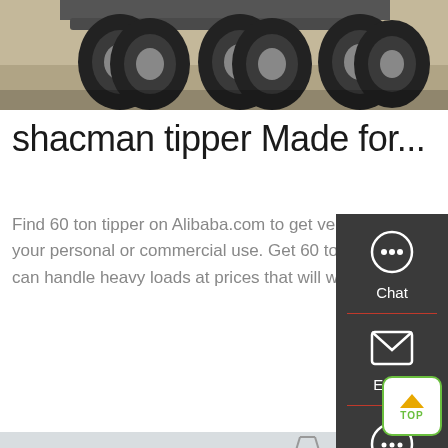[Figure (photo): Undercarriage of a large heavy-duty truck, showing tires and axles from below, on concrete surface]
shacman tipper Made for...
Find 60 ton tipper on Alibaba.com to get vehicles for your personal or commercial use. Get 60 ton tipper that can handle heavy loads at prices that will work for you.
Get a Quote
[Figure (photo): Multiple red heavy-duty trucks lined up in a lot with an electricity pylon in the background]